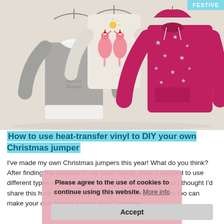FESTIVE
[Figure (photo): Three Christmas jumpers hanging on hangers against a light beige wall: a grey long-sleeve top with white collar and 'Merry at Blogmas' text, a cream sweatshirt with two flamingos wearing Santa hats, and a dark pink/magenta hoodie with silver stars.]
How to use heat-transfer vinyl to DIY your own Christmas jumper
I've made my own Christmas jumpers this year! What do you think? After finding the jumpers in my local charity shop, I decided to use different types of jumpers just calling to be decorated, so I thought I'd share this heat-transfer vinyl tutorial with you so that you too can make your own festive jumper this Christmas...